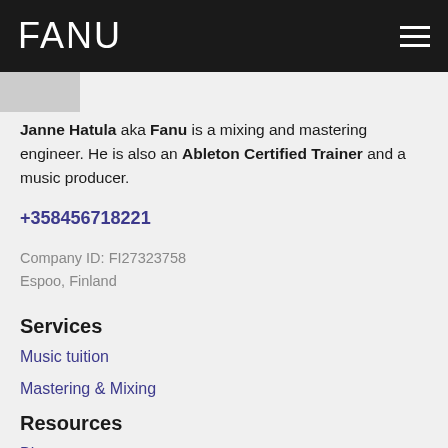FANU
[Figure (photo): Avatar/profile photo strip, partially visible at top of content area]
Janne Hatula aka Fanu is a mixing and mastering engineer. He is also an Ableton Certified Trainer and a music producer.
+358456718221
Company ID: FI27323758
Espoo, Finland
Services
Music tuition
Mastering & Mixing
Resources
Blog
Music